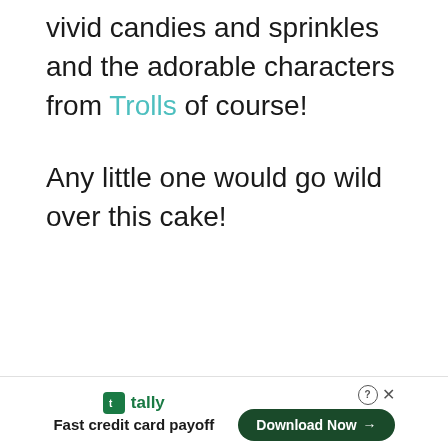vivid candies and sprinkles and the adorable characters from Trolls of course!
Any little one would go wild over this cake!
tally — Fast credit card payoff — Download Now